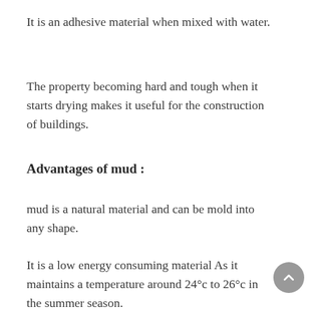It is an adhesive material when mixed with water.
The property becoming hard and tough when it starts drying makes it useful for the construction of buildings.
Advantages of mud :
mud is a natural material and can be mold into any shape.
It is a low energy consuming material As it maintains a temperature around 24°c to 26°c in the summer season.